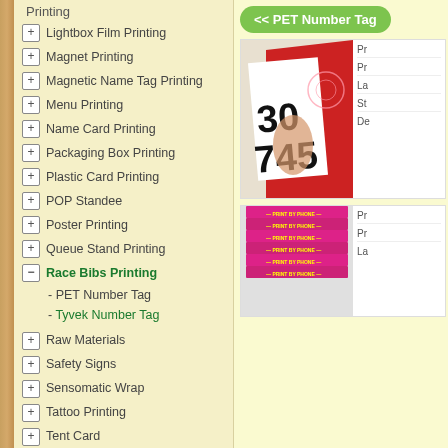Printing
+ Lightbox Film Printing
+ Magnet Printing
+ Magnetic Name Tag Printing
+ Menu Printing
+ Name Card Printing
+ Packaging Box Printing
+ Plastic Card Printing
+ POP Standee
+ Poster Printing
+ Queue Stand Printing
- Race Bibs Printing
- PET Number Tag
- Tyvek Number Tag
+ Raw Materials
+ Safety Signs
+ Sensomatic Wrap
+ Tattoo Printing
+ Tent Card
+ Tote Bag Printing
<< PET Number Tag
[Figure (photo): A hand peeling back a white PET number tag bib showing the number 30745 in large black text, placed over a red race bib background with pink ribbon decoration]
[Figure (photo): Stack of pink/magenta Tyvek number tag bibs with yellow text reading PRINT BY PHONE repeated across each bib]